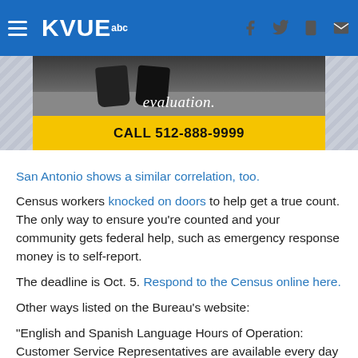KVUE abc
[Figure (photo): Advertisement banner showing feet on pavement with text 'evaluation.' and yellow call-to-action bar reading 'CALL 512-888-9999']
San Antonio shows a similar correlation, too.
Census workers knocked on doors to help get a true count. The only way to ensure you’re counted and your community gets federal help, such as emergency response money is to self-report.
The deadline is Oct. 5. Respond to the Census online here.
Other ways listed on the Bureau’s website:
“English and Spanish Language Hours of Operation: Customer Service Representatives are available every day from 7 a.m. to 2 a.m. Eastern Time on the following phone